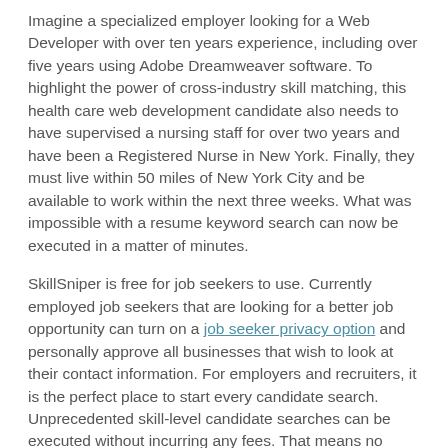Imagine a specialized employer looking for a Web Developer with over ten years experience, including over five years using Adobe Dreamweaver software. To highlight the power of cross-industry skill matching, this health care web development candidate also needs to have supervised a nursing staff for over two years and have been a Registered Nurse in New York. Finally, they must live within 50 miles of New York City and be available to work within the next three weeks. What was impossible with a resume keyword search can now be executed in a matter of minutes.
SkillSniper is free for job seekers to use. Currently employed job seekers that are looking for a better job opportunity can turn on a job seeker privacy option and personally approve all businesses that wish to look at their contact information. For employers and recruiters, it is the perfect place to start every candidate search. Unprecedented skill-level candidate searches can be executed without incurring any fees. That means no more paying large up-front fees without guarantees. There is no need for employers to settle for unqualified candidates when it is easy to search for the exact candidates they wish to interview. Due to massive time and money savings, SkillSniper is positioned to become the first place where businesses and recruiters start their candidate search. This is great news for